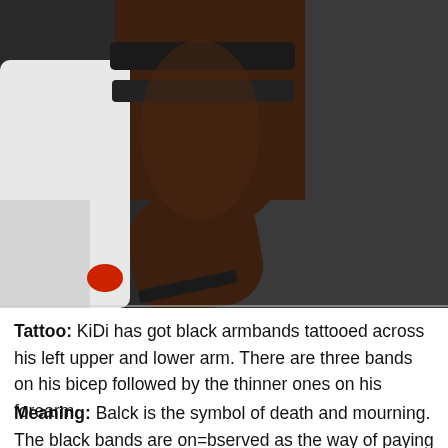[Figure (photo): A photograph showing a person's arm with black armband tattoos — thick bands on the upper bicep area and thinner bands on the lower forearm. The person is wearing a white garment on the left side; a dark grey background is visible on the right.]
Tattoo: KiDi has got black armbands tattooed across his left upper and lower arm. There are three bands on his bicep followed by the thinner ones on his forearm.
Meaning: Balck is the symbol of death and mourning. The black bands are on=bserved as the way of paying tribute to a loved one who is no more